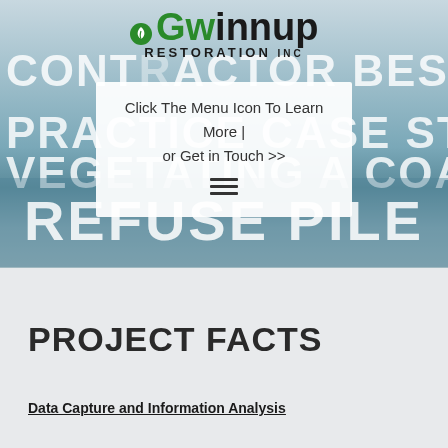[Figure (photo): Hero background image showing a coal refuse pile landscape with blue-gray tones. Gwinnup Restoration Inc. logo at top center with green and black text and leaf icon. Large white watermark text reads CONTRACTOR BEST PRACTICE CASE STUDY | VEGETATING A COAL REFUSE PILE overlaid on the image. A navigation overlay box with text 'Click The Menu Icon To Learn More | or Get in Touch >>' and a hamburger menu icon is shown.]
PROJECT FACTS
Data Capture and Information Analysis